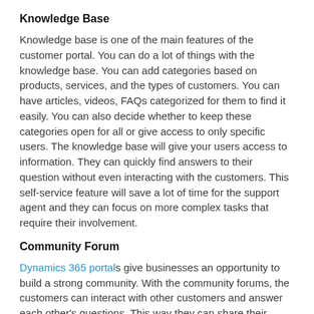Knowledge Base
Knowledge base is one of the main features of the customer portal. You can do a lot of things with the knowledge base. You can add categories based on products, services, and the types of customers. You can have articles, videos, FAQs categorized for them to find it easily. You can also decide whether to keep these categories open for all or give access to only specific users. The knowledge base will give your users access to information. They can quickly find answers to their question without even interacting with the customers. This self-service feature will save a lot of time for the support agent and they can focus on more complex tasks that require their involvement.
Community Forum
Dynamics 365 portals give businesses an opportunity to build a strong community. With the community forums, the customers can interact with other customers and answer each other's questions. This way they can share their experiences, expectations, and knowledge about the product. Your customers talking about your product or service will increase their engagement with your brand. The issue will be solved internally and your support agents will save a lot of time. At the same time you will know what issues your customers are facing, what